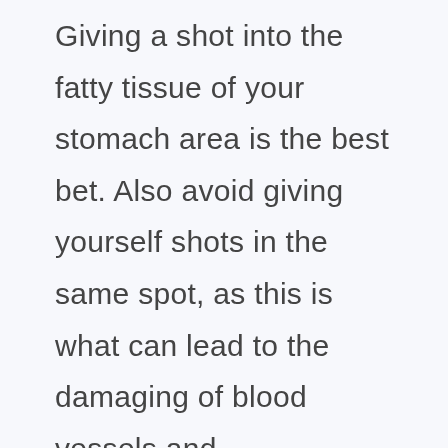Giving a shot into the fatty tissue of your stomach area is the best bet. Also avoid giving yourself shots in the same spot, as this is what can lead to the damaging of blood vessels and